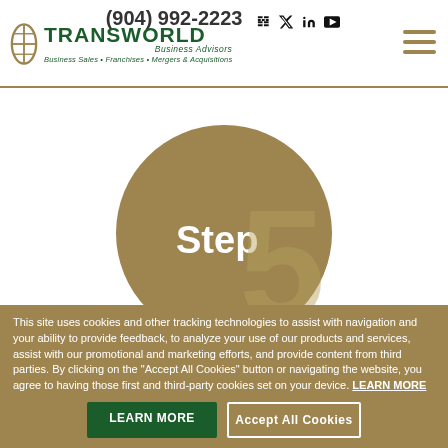(904) 992-2223
[Figure (logo): Transworld Business Advisors logo with globe icon, tagline: Business Sales • Franchises • Mergers & Acquisitions]
[Figure (illustration): Gold circle with 'Step 5' text, large semi-transparent number 5 overlapping the circle]
This site uses cookies and other tracking technologies to assist with navigation and your ability to provide feedback, to analyze your use of our products and services, assist with our promotional and marketing efforts, and provide content from third parties. By clicking on the "Accept All Cookies" button or navigating the website, you agree to having those first and third-party cookies set on your device. LEARN MORE
LEARN MORE
Accept All Cookies